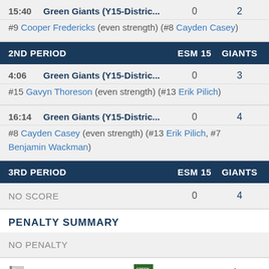| Time | Team | ESM 15 | GIANTS |
| --- | --- | --- | --- |
| 15:40 | Green Giants (Y15-Distric... | 0 | 2 |
| #9 Cooper Fredericks (even strength) (#8 Cayden Casey) |  |  |  |
2ND PERIOD    ESM 15    GIANTS
| Time | Team | ESM 15 | GIANTS |
| --- | --- | --- | --- |
| 4:06 | Green Giants (Y15-Distric... | 0 | 3 |
| #15 Gavyn Thoreson (even strength) (#13 Erik Pilich) |  |  |  |
| 16:14 | Green Giants (Y15-Distric... | 0 | 4 |
| #8 Cayden Casey (even strength) (#13 Erik Pilich, #7 Benjamin Wackman) |  |  |  |
3RD PERIOD    ESM 15    GIANTS
|  | ESM 15 | GIANTS |
| --- | --- | --- |
| NO SCORE | 0 | 4 |
PENALTY SUMMARY
NO PENALTY
ESMARK STARS 15    GREEN GIANTS (Y15-